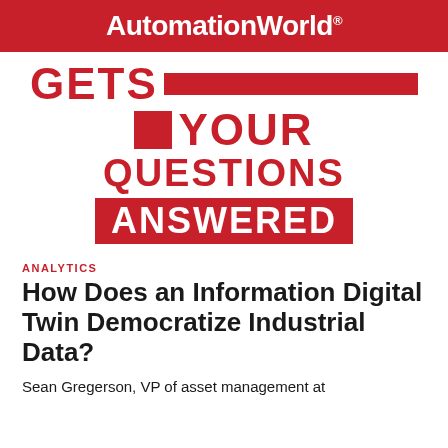[Figure (logo): Automation World logo — white bold text on red background banner]
[Figure (infographic): Gets Your Questions Answered graphic with large red bold text and red rectangular bars/squares on white background]
ANALYTICS
How Does an Information Digital Twin Democratize Industrial Data?
Sean Gregerson, VP of asset management at